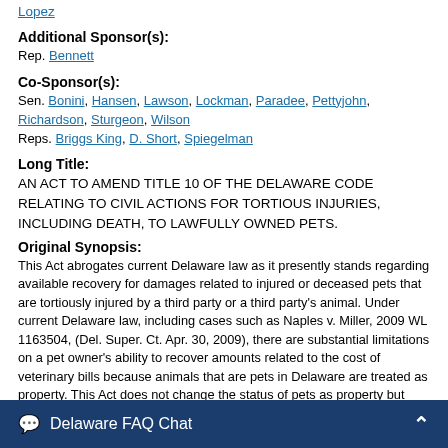Lopez
Additional Sponsor(s):
Rep. Bennett
Co-Sponsor(s):
Sen. Bonini, Hansen, Lawson, Lockman, Paradee, Pettyjohn, Richardson, Sturgeon, Wilson
Reps. Briggs King, D. Short, Spiegelman
Long Title:
AN ACT TO AMEND TITLE 10 OF THE DELAWARE CODE RELATING TO CIVIL ACTIONS FOR TORTIOUS INJURIES, INCLUDING DEATH, TO LAWFULLY OWNED PETS.
Original Synopsis:
This Act abrogates current Delaware law as it presently stands regarding available recovery for damages related to injured or deceased pets that are tortiously injured by a third party or a third party's animal. Under current Delaware law, including cases such as Naples v. Miller, 2009 WL 1163504, (Del. Super. Ct. Apr. 30, 2009), there are substantial limitations on a pet owner's ability to recover amounts related to the cost of veterinary bills because animals that are pets in Delaware are treated as property. This Act does not change the status of pets as property but does prov… a pet. Under cur… the fair …